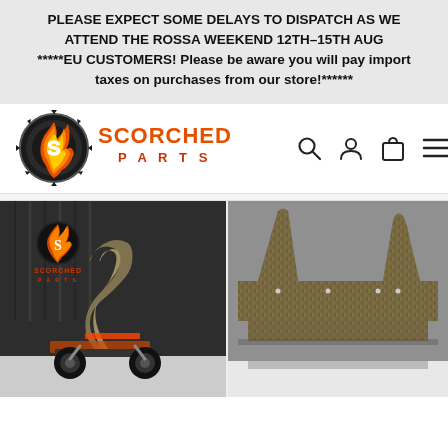PLEASE EXPECT SOME DELAYS TO DISPATCH AS WE ATTEND THE ROSSA WEEKEND 12TH-15TH AUG *****EU CUSTOMERS! Please be aware you will pay import taxes on purchases from our store!******
[Figure (logo): Scorched Parts logo with gear/flame emblem and brand name]
[Figure (photo): Product photos showing carbon fiber RC car parts - left image shows an RC car with carbon fiber wing/splitter in a garage setting with Scorched Parts branding; right image shows close-up of carbon fiber aero piece against grey foam background]